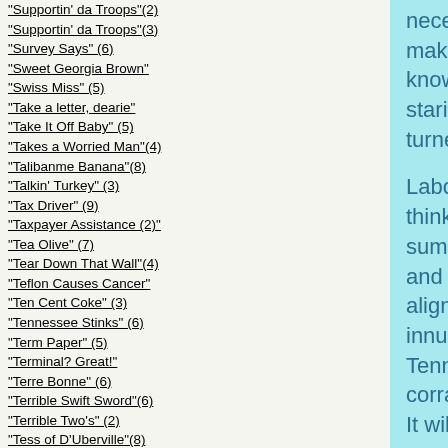"Supportin' da Troops"(2)
"Supportin' da Troops"(3)
"Survey Says" (6)
"Sweet Georgia Brown"
"Swiss Miss" (5)
"Take a letter, dearie"
"Take It Off Baby" (5)
"Takes a Worried Man"(4)
"Talibanme Banana"(8)
"Talkin' Turkey" (3)
"Tax Driver" (9)
"Taxpayer Assistance (2)"
"Tea Olive" (7)
"Tear Down That Wall"(4)
"Teflon Causes Cancer"
"Ten Cent Coke" (3)
"Tennessee Stinks" (6)
"Term Paper" (5)
"Terminal? Great!"
"Terre Bonne" (6)
"Terrible Swift Sword"(6)
"Terrible Two's" (2)
"Tess of D'Uberville"(8)
"Tess of the Dorghis" (8)
"Texas Exes" (8)
"Thank the Academy"(4)
"Thank You Rand Paul"
"Thank You, Molly" (2)
necessary to consume August, and to make it just another February.  Frodo knows well that an additional month of staring out those windows would have turned him to a life of crime.
Labor Day is still a month away, yet Frodo thinks about the passage of another summer when he finds himself sedentary and indoors.  Soon the buses will be aligned in the School of the Shire, and innumerable "no-neck monsters" (see Tennessee Williams) will be driven into corrals and imprisoned pending slaughter.  It will be as if summer never existed, and